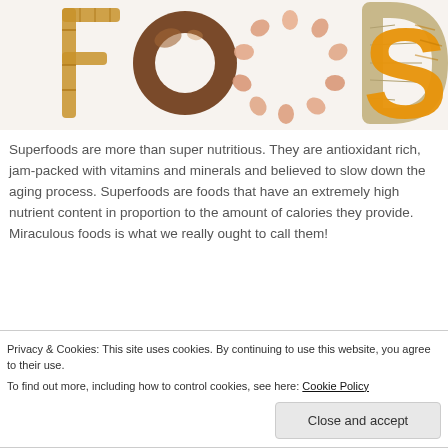[Figure (illustration): The word FOODS spelled out using food items — bamboo sticks form F, a chocolate donut forms O, eggs arranged in a circle form O, woven straw or rope forms D, and a textured orange letter S, all on a white background.]
Superfoods are more than super nutritious. They are antioxidant rich, jam-packed with vitamins and minerals and believed to slow down the aging process. Superfoods are foods that have an extremely high nutrient content in proportion to the amount of calories they provide. Miraculous foods is what we really ought to call them!
Privacy & Cookies: This site uses cookies. By continuing to use this website, you agree to their use.
To find out more, including how to control cookies, see here: Cookie Policy
Close and accept